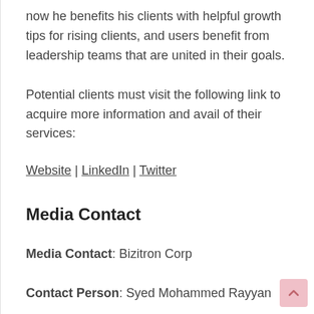now he benefits his clients with helpful growth tips for rising clients, and users benefit from leadership teams that are united in their goals.
Potential clients must visit the following link to acquire more information and avail of their services:
Website | LinkedIn | Twitter
Media Contact
Media Contact: Bizitron Corp
Contact Person: Syed Mohammed Rayyan